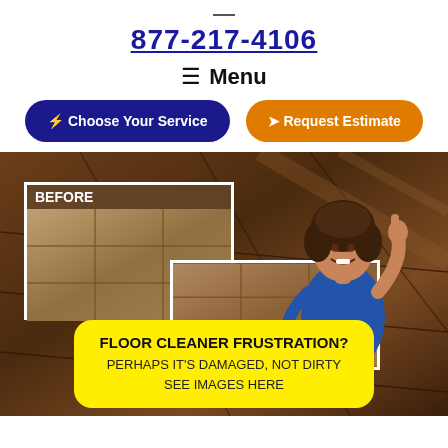877-217-4106
≡ Menu
⚡ Choose Your Service
✈ Request Estimate
[Figure (photo): Hero section with a woman giving a thumbs up standing in front of a shiny hardwood tiled floor, with a 'BEFORE' inset image showing dull floor tiles, and an 'AFTER' partially visible box showing cleaner tiles. A yellow callout box reads: FLOOR CLEANER FRUSTRATION? PERHAPS IT'S DAMAGED, NOT DIRTY SEE IMAGES HERE]